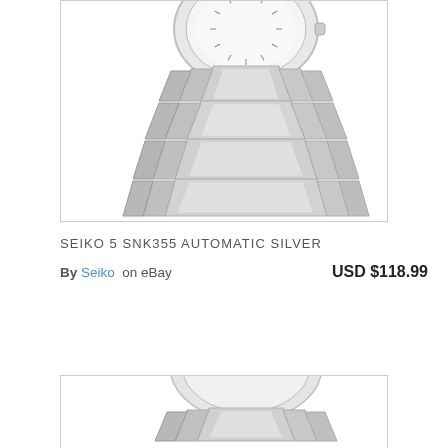[Figure (photo): Seiko 5 SNK355 Automatic Silver watch with silver stainless steel bracelet and white dial, shown from an angle highlighting the bracelet links]
SEIKO 5 SNK355 AUTOMATIC SILVER
By Seiko on eBay    USD $118.99
[Figure (photo): Partial view of silver watch with stainless steel bracelet, bottom of page cropped]